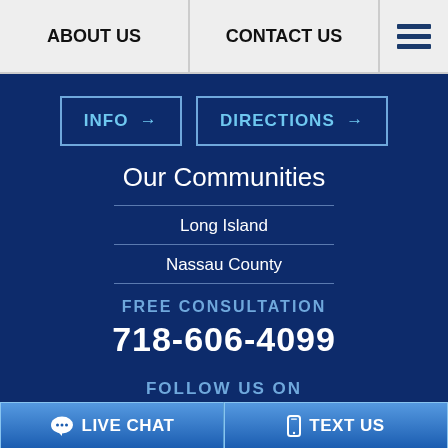ABOUT US | CONTACT US
INFO → | DIRECTIONS →
Our Communities
Long Island
Nassau County
FREE CONSULTATION
718-606-4099
FOLLOW US ON
💬 LIVE CHAT    📱 TEXT US